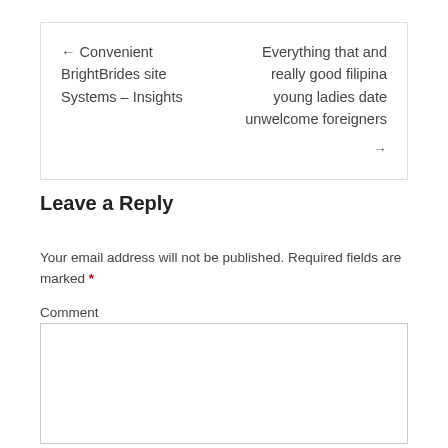← Convenient BrightBrides site Systems – Insights
Everything that and really good filipina young ladies date unwelcome foreigners →
Leave a Reply
Your email address will not be published. Required fields are marked *
Comment